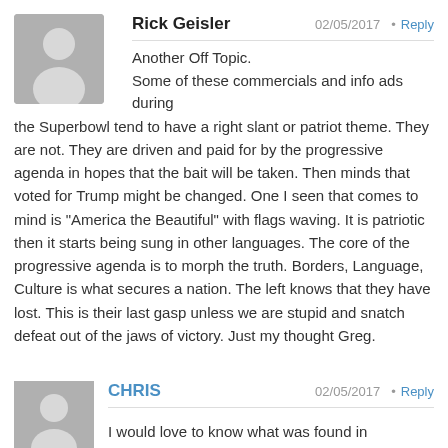Rick Geisler
02/05/2017 · Reply
Another Off Topic.
Some of these commercials and info ads during the Superbowl tend to have a right slant or patriot theme. They are not. They are driven and paid for by the progressive agenda in hopes that the bait will be taken. Then minds that voted for Trump might be changed. One I seen that comes to mind is “America the Beautiful” with flags waving. It is patriotic then it starts being sung in other languages. The core of the progressive agenda is to morph the truth. Borders, Language, Culture is what secures a nation. The left knows that they have lost. This is their last gasp unless we are stupid and snatch defeat out of the jaws of victory. Just my thought Greg.
CHRIS
02/05/2017 · Reply
I would love to know what was found in Antarctica.